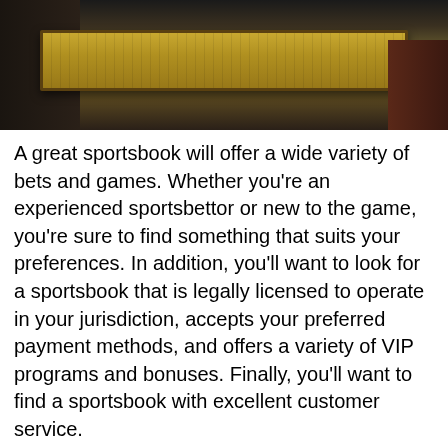[Figure (photo): A photograph showing people around a table covered with what appears to be grass or turf surface, taken indoors with dark background.]
A great sportsbook will offer a wide variety of bets and games. Whether you're an experienced sportsbettor or new to the game, you're sure to find something that suits your preferences. In addition, you'll want to look for a sportsbook that is legally licensed to operate in your jurisdiction, accepts your preferred payment methods, and offers a variety of VIP programs and bonuses. Finally, you'll want to find a sportsbook with excellent customer service.
Some of the best sportsbooks cater to Asian customers. SBOBet, for example, is an Asian sportsbook with branches in the Philippines and the Isle of Man. It offers a user-friendly interface and excellent customer support in multiple languages. It also offers a variety of betting options, including live betting and proposition betting. You can use SBOBet to...